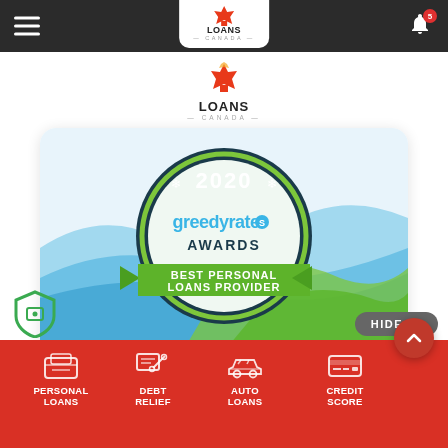[Figure (screenshot): Mobile app navigation bar with hamburger menu, Loans Canada logo centered, and bell notification icon with badge showing 5]
[Figure (logo): Loans Canada logo with maple leaf and brand name]
[Figure (illustration): GreedyRates 2020 Awards - Best Personal Loans Provider badge on blue and green wave background]
[Figure (infographic): HIDE button with chevron]
[Figure (infographic): Bottom red navigation bar with icons for Personal Loans, Debt Relief, Auto Loans, Credit Score]